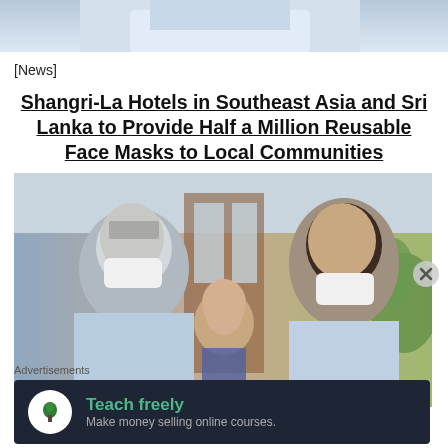[Figure (photo): Top partial photo showing person in white shirt, cropped at top of page]
[News]
Shangri-La Hotels in Southeast Asia and Sri Lanka to Provide Half a Million Reusable Face Masks to Local Communities
[Figure (photo): Two men wearing white face masks interacting with a small child between them, in a hotel lobby setting with wood-framed windows and tropical plants]
Advertisements
[Figure (other): Advertisement banner with dark background showing tree icon and text: Teach freely - Make money selling online courses.]